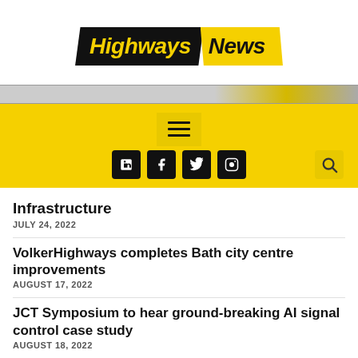[Figure (logo): Highways News logo — 'Highways' in yellow italic bold on black parallelogram, 'News' in black italic bold on yellow parallelogram]
[Figure (photo): Partial photo strip showing a road/highway scene]
[Figure (infographic): Yellow navigation bar with hamburger menu icon and social media icons (LinkedIn, Facebook, Twitter, Instagram) and search icon]
Infrastructure
JULY 24, 2022
VolkerHighways completes Bath city centre improvements
AUGUST 17, 2022
JCT Symposium to hear ground-breaking AI signal control case study
AUGUST 18, 2022